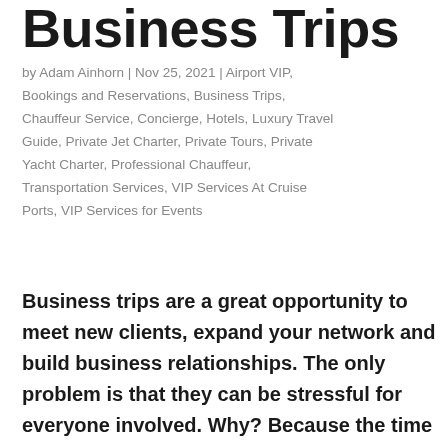Business Trips
by Adam Ainhorn | Nov 25, 2021 | Airport VIP, Bookings and Reservations, Business Trips, Chauffeur Service, Concierge, Hotels, Luxury Travel Guide, Private Jet Charter, Private Tours, Private Yacht Charter, Professional Chauffeur, Transportation Services, VIP Services At Cruise Ports, VIP Services for Events
Business trips are a great opportunity to meet new clients, expand your network and build business relationships. The only problem is that they can be stressful for everyone involved. Why? Because the time spent in airports, on planes, or waiting for transportation...